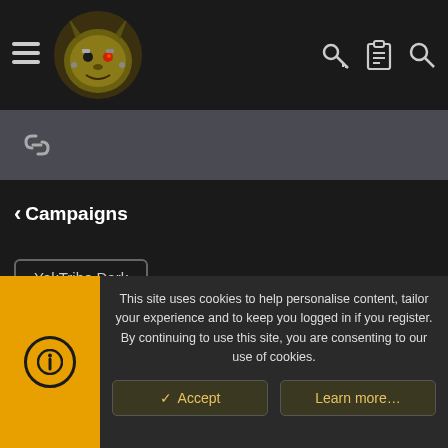YakTribe Gaming — Header navigation with hamburger menu, logo, key icon, clipboard icon, search icon
[Figure (screenshot): Gray toolbar bar with a chain/link icon on the left]
< Campaigns
YakTribe Dark (style selector button)
Contact us  Terms and rules  Privacy policy  Help  Home  ↑  RSS
Community platform by XenForo® © 2010-2022 XenForo Ltd. | Style and add-ons by ThemeHouse
This site uses cookies to help personalise content, tailor your experience and to keep you logged in if you register. By continuing to use this site, you are consenting to our use of cookies.
✓ Accept   Learn more…